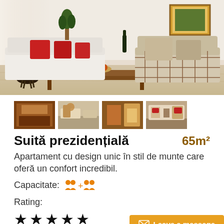[Figure (photo): Living room interior with wooden coffee table, beige sofa with red pillows, and plaid armchair in mountain-style decor]
[Figure (photo): Four thumbnail images of different hotel room views]
Suită prezidențială   65m²
Apartament cu design unic în stil de munte care oferă un confort incredibil.
Capacitate: 👥👥+👥👥
Rating:
★★★★★
Leave a message